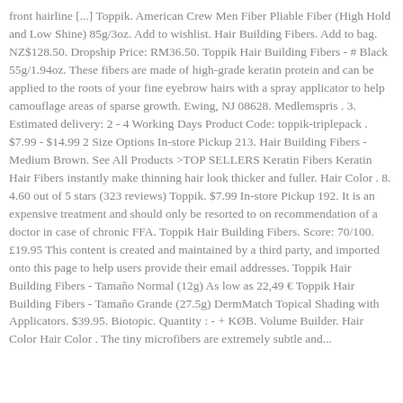front hairline [...] Toppik. American Crew Men Fiber Pliable Fiber (High Hold and Low Shine) 85g/3oz. Add to wishlist. Hair Building Fibers. Add to bag. NZ$128.50. Dropship Price: RM36.50. Toppik Hair Building Fibers - # Black 55g/1.94oz. These fibers are made of high-grade keratin protein and can be applied to the roots of your fine eyebrow hairs with a spray applicator to help camouflage areas of sparse growth. Ewing, NJ 08628. Medlemspris . 3. Estimated delivery: 2 - 4 Working Days Product Code: toppik-triplepack . $7.99 - $14.99 2 Size Options In-store Pickup 213. Hair Building Fibers - Medium Brown. See All Products >TOP SELLERS Keratin Fibers Keratin Hair Fibers instantly make thinning hair look thicker and fuller. Hair Color . 8. 4.60 out of 5 stars (323 reviews) Toppik. $7.99 In-store Pickup 192. It is an expensive treatment and should only be resorted to on recommendation of a doctor in case of chronic FFA. Toppik Hair Building Fibers. Score: 70/100. £19.95 This content is created and maintained by a third party, and imported onto this page to help users provide their email addresses. Toppik Hair Building Fibers - Tamaño Normal (12g) As low as 22,49 € Toppik Hair Building Fibers - Tamaño Grande (27.5g) DermMatch Topical Shading with Applicators. $39.95. Biotopic. Quantity : - + KØB. Volume Builder. Hair Color Hair Color . The tiny microfibers are extremely subtle and...